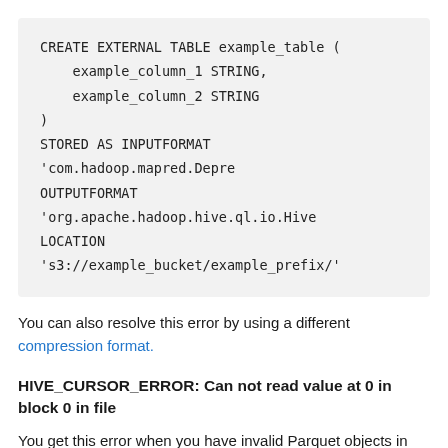[Figure (screenshot): Code block showing SQL CREATE EXTERNAL TABLE statement with STORED AS INPUTFORMAT, OUTPUTFORMAT, and LOCATION clauses]
You can also resolve this error by using a different compression format.
HIVE_CURSOR_ERROR: Can not read value at 0 in block 0 in file
You get this error when you have invalid Parquet objects in the S3 path. Check if your Parquet objects contain DECIMAL data types. If Parquet objects contain DECIMAL data types and were written using Spark, they might be incompatible with Hive. To check this condition, try reading the Parquet objects from a Spark job.